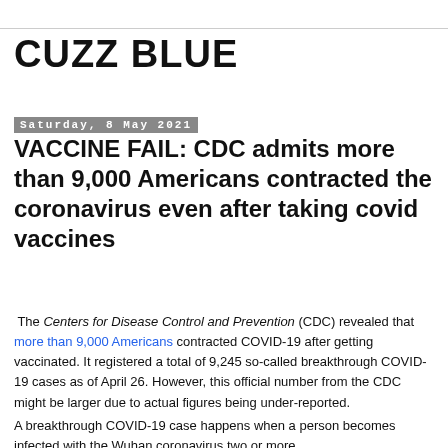CUZZ BLUE
Saturday, 8 May 2021
VACCINE FAIL: CDC admits more than 9,000 Americans contracted the coronavirus even after taking covid vaccines
The Centers for Disease Control and Prevention (CDC) revealed that more than 9,000 Americans contracted COVID-19 after getting vaccinated. It registered a total of 9,245 so-called breakthrough COVID-19 cases as of April 26. However, this official number from the CDC might be larger due to actual figures being under-reported.
A breakthrough COVID-19 case happens when a person becomes infected with the Wuhan coronavirus two or more